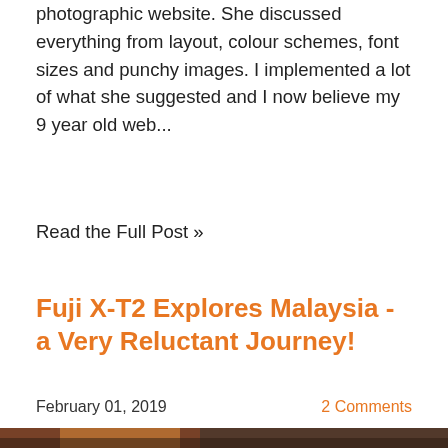photographic website. She discussed everything from layout, colour schemes, font sizes and punchy images. I implemented a lot of what she suggested and I now believe my 9 year old web...
Read the Full Post »
Fuji X-T2 Explores Malaysia - a Very Reluctant Journey!
February 01, 2019
2 Comments
[Figure (photo): A crowded outdoor religious festival scene in Malaysia. In the foreground, a woman in a pink top helps another woman with a yellow flower garland drink from a blue water bottle. The woman drinking appears to have a piercing through her cheek/mouth. In the background, a large golden statue and a massive crowd of people are visible on steps.]